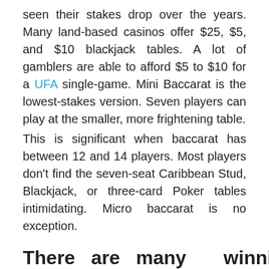seen their stakes drop over the years. Many land-based casinos offer $25, $5, and $10 blackjack tables. A lot of gamblers are able to afford $5 to $10 for a UFA single-game. Mini Baccarat is the lowest-stakes version. Seven players can play at the smaller, more frightening table. This is significant when baccarat has between 12 and 14 players. Most players don't find the seven-seat Caribbean Stud, Blackjack, or three-card Poker tables intimidating. Micro baccarat is no exception.
There are many winning possibilities
Baccarat is a very popular game in online